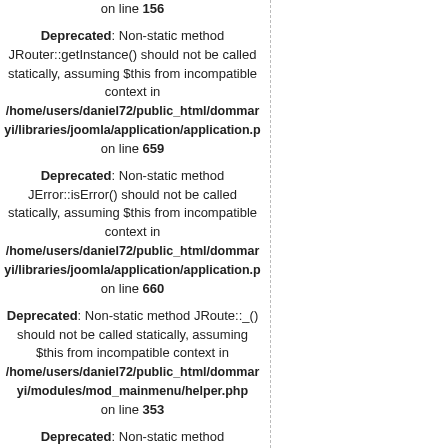on line 156
Deprecated: Non-static method JRouter::getInstance() should not be called statically, assuming $this from incompatible context in /home/users/daniel72/public_html/dommaryi/libraries/joomla/application/application.p on line 659
Deprecated: Non-static method JError::isError() should not be called statically, assuming $this from incompatible context in /home/users/daniel72/public_html/dommaryi/libraries/joomla/application/application.p on line 660
Deprecated: Non-static method JRoute::_() should not be called statically, assuming $this from incompatible context in /home/users/daniel72/public_html/dommaryi/modules/mod_mainmenu/helper.php on line 353
Deprecated: Non-static method JFactory::getApplication() should not be called statically, assuming $this from incompatible context in /home/users/daniel72/public_html/dommaryi/libraries/joomla/methods.php on line 41
Deprecated: Non-static method JFactory::getConfig() should not be called